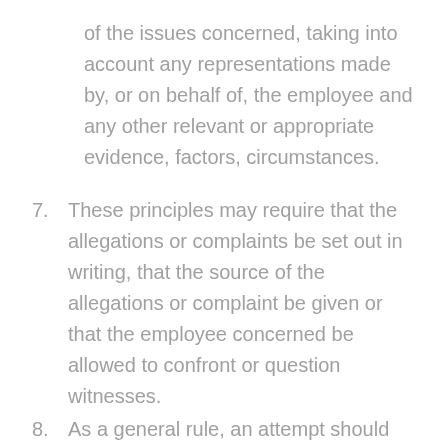of the issues concerned, taking into account any representations made by, or on behalf of, the employee and any other relevant or appropriate evidence, factors, circumstances.
7. These principles may require that the allegations or complaints be set out in writing, that the source of the allegations or complaint be given or that the employee concerned be allowed to confront or question witnesses.
8. As a general rule, an attempt should be made to resolve grievance and disciplinary issues between the employee concerned and his or her immediate manager or supervisor. This could be done